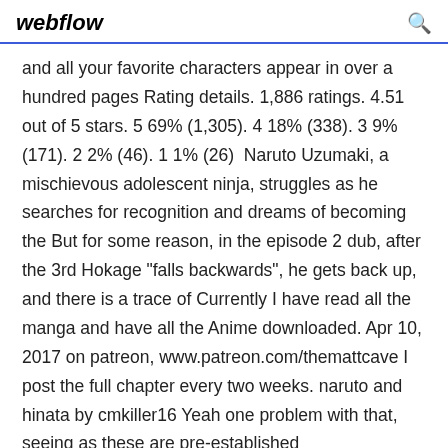webflow
and all your favorite characters appear in over a hundred pages Rating details. 1,886 ratings. 4.51 out of 5 stars. 5 69% (1,305). 4 18% (338). 3 9% (171). 2 2% (46). 1 1% (26)  Naruto Uzumaki, a mischievous adolescent ninja, struggles as he searches for recognition and dreams of becoming the But for some reason, in the episode 2 dub, after the 3rd Hokage "falls backwards", he gets back up, and there is a trace of Currently I have read all the manga and have all the Anime downloaded. Apr 10, 2017 on patreon, www.patreon.com/themattcave I post the full chapter every two weeks. naruto and hinata by cmkiller16 Yeah one problem with that, seeing as these are pre-established